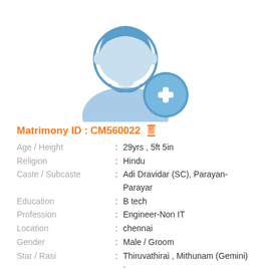[Figure (illustration): Generic male profile avatar with a blue circular plus/add icon overlay in the bottom-right]
Matrimony ID : CM560022 [phone icon]
| Age / Height | : | 29yrs , 5ft 5in |
| Religion | : | Hindu |
| Caste / Subcaste | : | Adi Dravidar (SC), Parayan-Parayar |
| Education | : | B tech |
| Profession | : | Engineer-Non IT |
| Location | : | chennai |
| Gender | : | Male / Groom |
| Star / Rasi | : | Thiruvathirai , Mithunam (Gemini) ; |
| Language | : | Tamil |
| District | : | Chennai |
| State | : | Tamil Nadu |
| Country | : | India |